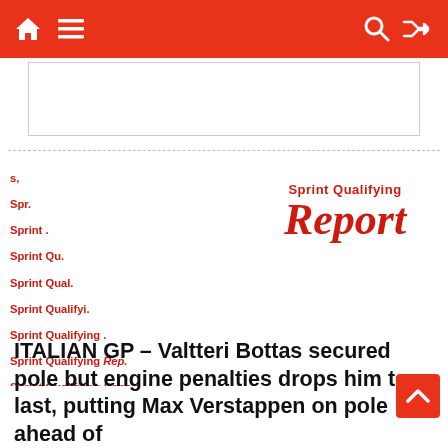Navigation bar with home, menu, search, and shuffle icons
[Figure (other): Advertisement banner placeholder]
[Figure (illustration): Sprint Qualifying Report logo with repeating decorative text background]
ITALIAN GP – Valtteri Bottas secured pole but engine penalties drops him to last, putting Max Verstappen on pole ahead of